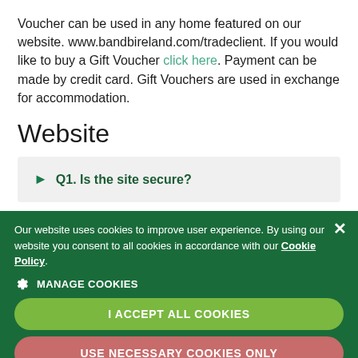Voucher can be used in any home featured on our website. www.bandbireland.com/tradeclient. If you would like to buy a Gift Voucher click here. Payment can be made by credit card. Gift Vouchers are used in exchange for accommodation.
Website
Q1. Is the site secure?
[Figure (screenshot): Cookie consent overlay on a dark green background with close button (×), text about cookies, MANAGE COOKIES option with gear icon, I ACCEPT ALL COOKIES button (green), and USE NECESSARY COOKIES ONLY button (red/pink).]